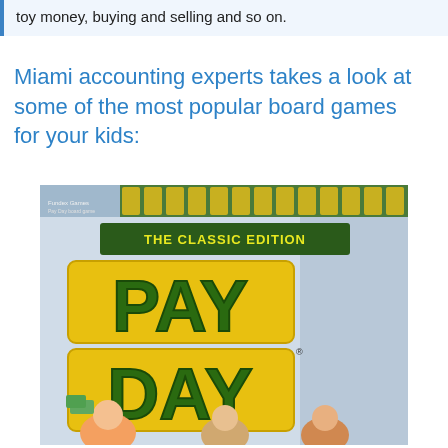toy money, buying and selling and so on.
Miami accounting experts takes a look at some of the most popular board games for your kids:
[Figure (photo): Box cover of Pay Day: The Classic Edition board game, featuring large green and yellow lettering spelling PAY DAY with cartoon characters holding money bills at the bottom.]